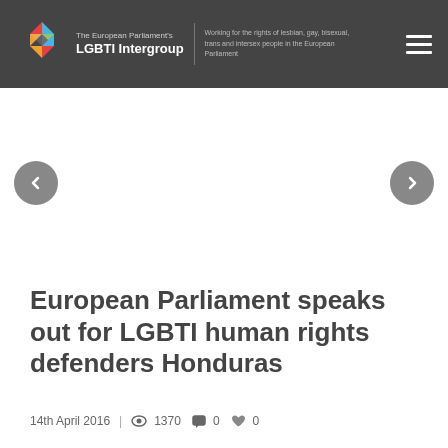The European Parliament's LGBTI Intergroup | Working for the rights of lesbian, gay, bisexual, trans and intersex people in the European Parliament
[Figure (other): Carousel navigation with left and right arrow buttons on white background]
European Parliament speaks out for LGBTI human rights defenders Honduras
14th April 2016  |  1370  0  0